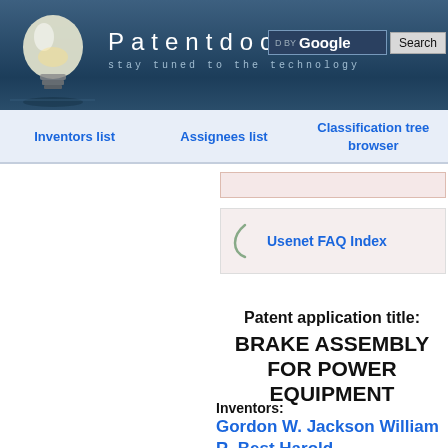Patentdocs — stay tuned to the technology
Inventors list
Assignees list
Classification tree browser
Usenet FAQ Index
Patent application title: BRAKE ASSEMBLY FOR POWER EQUIPMENT
Inventors: Gordon W. Jackson  William R. Best  Harold